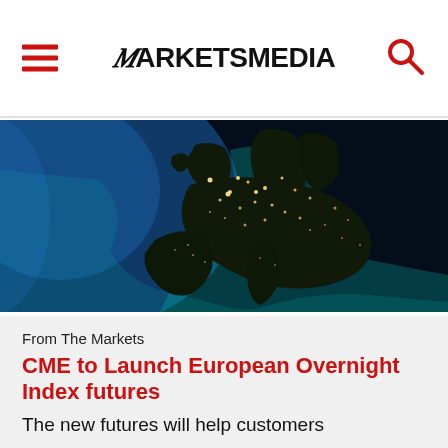MARKETSMEDIA
[Figure (photo): Satellite night view of Europe from space, showing city lights and glowing teal coastlines against dark landmass and blue ocean]
From The Markets
CME to Launch European Overnight Index futures
The new futures will help customers